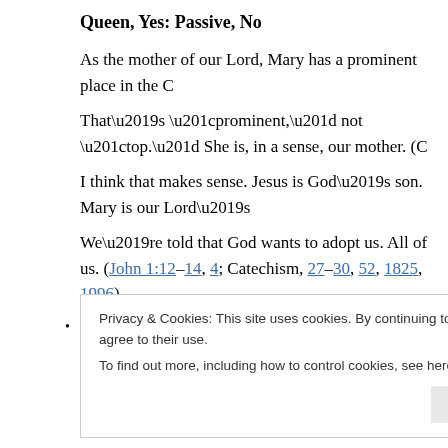Queen, Yes: Passive, No
As the mother of our Lord, Mary has a prominent place in the C
That’s “prominent,” not “top.” She is, in a sense, our mother. (C
I think that makes sense. Jesus is God’s son. Mary is our Lord’s
We’re told that God wants to adopt us. All of us. (John 1:12–14; Catechism, 27–30, 52, 1825, 1996)
I accepted the offer, which makes me a part of the family — alo
Privacy & Cookies: This site uses cookies. By continuing to use this website, you agree to their use. To find out more, including how to control cookies, see here: Cookie Policy